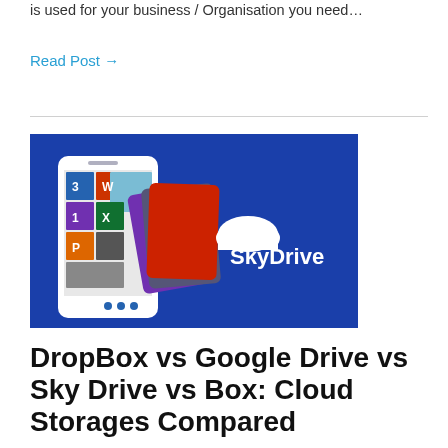is used for your business / Organisation you need…
Read Post →
[Figure (illustration): SkyDrive promotional image showing a white smartphone with colorful Windows-style app tiles and stacked cards, with the SkyDrive cloud logo and text on a blue background]
DropBox vs Google Drive vs Sky Drive vs Box: Cloud Storages Compared